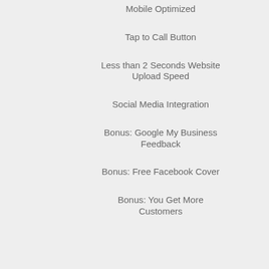Mobile Optimized
Tap to Call Button
Less than 2 Seconds Website Upload Speed
Social Media Integration
Bonus: Google My Business Feedback
Bonus: Free Facebook Cover
Bonus: You Get More Customers